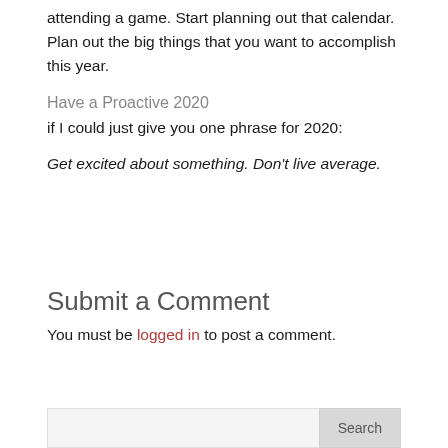attending a game. Start planning out that calendar. Plan out the big things that you want to accomplish this year.
Have a Proactive 2020
if I could just give you one phrase for 2020:
Get excited about something. Don't live average.
Submit a Comment
You must be logged in to post a comment.